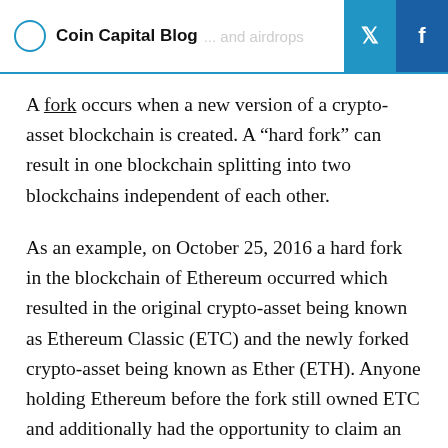Coin Capital Blog ... and airdrops
A fork occurs when a new version of a crypto-asset blockchain is created. A “hard fork” can result in one blockchain splitting into two blockchains independent of each other.
As an example, on October 25, 2016 a hard fork in the blockchain of Ethereum occurred which resulted in the original crypto-asset being known as Ethereum Classic (ETC) and the newly forked crypto-asset being known as Ether (ETH). Anyone holding Ethereum before the fork still owned ETC and additionally had the opportunity to claim an equal quantity of the new ETH for free.